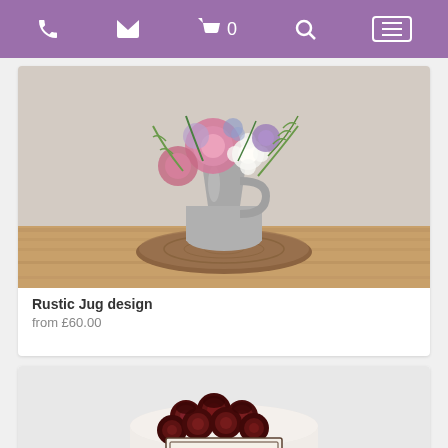Navigation bar with phone, email, cart (0), search, and menu icons
[Figure (photo): Rustic jug floral arrangement with pink, white, and purple flowers in a grey concrete jug on a wooden slice, against a whitewashed brick wall background]
Rustic Jug design
from £60.00
[Figure (photo): Round white hat box filled with deep burgundy/red roses, with a personalised tag reading 'Harleen & Jeevan Congratulations on your happily ever after xox']